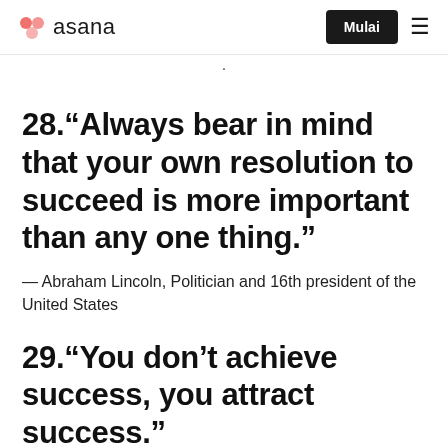asana  Mulai  ≡
·
28.“Always bear in mind that your own resolution to succeed is more important than any one thing.”
— Abraham Lincoln, Politician and 16th president of the United States
29.“You don’t achieve success, you attract success.”